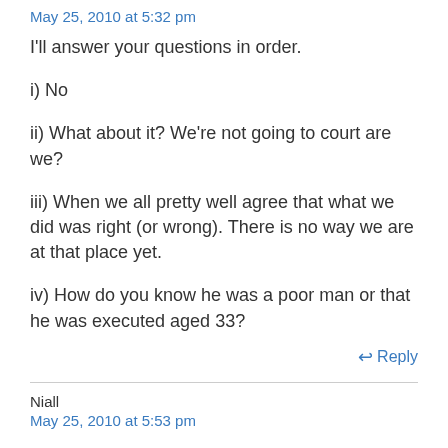May 25, 2010 at 5:32 pm
I'll answer your questions in order.
i) No
ii) What about it? We're not going to court are we?
iii) When we all pretty well agree that what we did was right (or wrong). There is no way we are at that place yet.
iv) How do you know he was a poor man or that he was executed aged 33?
↩ Reply
Niall
May 25, 2010 at 5:53 pm